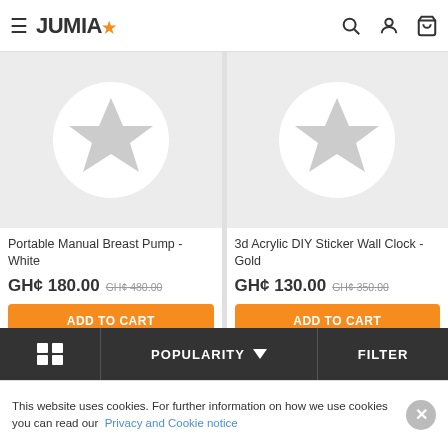JUMIA
[Figure (screenshot): Product listing card: Portable Manual Breast Pump - White with placeholder star image]
Portable Manual Breast Pump - White
GH¢ 180.00  GH¢ 480.00
[Figure (screenshot): Product listing card: 3d Acrylic DIY Sticker Wall Clock - Gold with placeholder star image]
3d Acrylic DIY Sticker Wall Clock - Gold
GH¢ 130.00  GH¢ 350.00
POPULARITY  FILTER
This website uses cookies. For further information on how we use cookies you can read our Privacy and Cookie notice